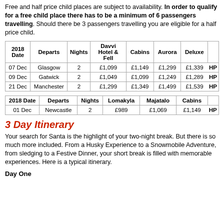Free and half price child places are subject to availability. In order to qualify for a free child place there has to be a minimum of 6 passengers travelling. Should there be 3 passengers travelling you are eligible for a half price child.
| 2018 Date | Departs | Nights | Davvi Hotel & Fell | Cabins | Aurora | Deluxe |  |
| --- | --- | --- | --- | --- | --- | --- | --- |
| 07 Dec | Glasgow | 2 | £1,099 | £1,149 | £1,299 | £1,339 | HP |
| 09 Dec | Gatwick | 2 | £1,049 | £1,099 | £1,249 | £1,289 | HP |
| 21 Dec | Manchester | 2 | £1,299 | £1,349 | £1,499 | £1,539 | HP |
| 2018 Date | Departs | Nights | Lomakyla | Majatalo | Cabins |  |
| --- | --- | --- | --- | --- | --- | --- |
| 01 Dec | Newcastle | 2 | £989 | £1,069 | £1,149 | HP |
3 Day Itinerary
Your search for Santa is the highlight of your two-night break. But there is so much more included. From a Husky Experience to a Snowmobile Adventure, from sledging to a Festive Dinner, your short break is filled with memorable experiences. Here is a typical itinerary.
Day One